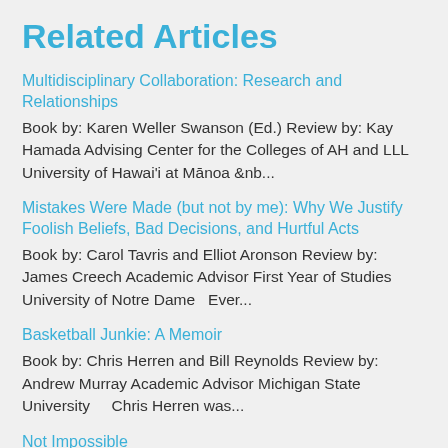Related Articles
Multidisciplinary Collaboration: Research and Relationships
Book by: Karen Weller Swanson (Ed.) Review by: Kay Hamada Advising Center for the Colleges of AH and LLL University of Hawai'i at Mānoa &nb...
Mistakes Were Made (but not by me): Why We Justify Foolish Beliefs, Bad Decisions, and Hurtful Acts
Book by: Carol Tavris and Elliot Aronson Review by: James Creech Academic Advisor First Year of Studies University of Notre Dame   Ever...
Basketball Junkie: A Memoir
Book by: Chris Herren and Bill Reynolds Review by: Andrew Murray Academic Advisor Michigan State University     Chris Herren was...
Not Impossible
Book by: Mick Ebeling Review by: Valerie McClinton Senior Academic Advisor University of Colorado, Colorado Springs In Not Impossible, Mic...